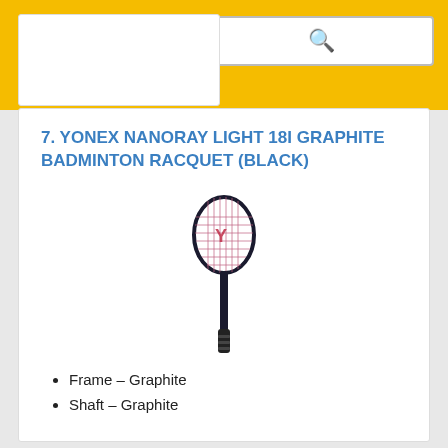MENU [search box]
7. YONEX NANORAY LIGHT 18I GRAPHITE BADMINTON RACQUET (BLACK)
[Figure (photo): A black Yonex Nanoray badminton racquet with a oval frame and long shaft, shown vertically with logo visible on the strings.]
Frame – Graphite
Shaft – Graphite